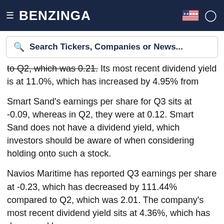BENZINGA
Search Tickers, Companies or News...
to Q2, which was 0.21. Its most recent dividend yield is at 11.0%, which has increased by 4.95% from 6.05% in the previous quarter.
Smart Sand's earnings per share for Q3 sits at -0.09, whereas in Q2, they were at 0.12. Smart Sand does not have a dividend yield, which investors should be aware of when considering holding onto such a stock.
Navios Maritime has reported Q3 earnings per share at -0.23, which has decreased by 111.44% compared to Q2, which was 2.01. The company's most recent dividend yield sits at 4.36%, which has decreased by 20.07% from 23.46% the previous quarter.